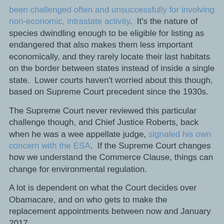been challenged often and unsuccessfully for involving non-economic, intrastate activity.  It's the nature of species dwindling enough to be eligible for listing as endangered that also makes them less important economically, and they rarely locate their last habitats on the border between states instead of inside a single state.  Lower courts haven't worried about this though, based on Supreme Court precedent since the 1930s.
The Supreme Court never reviewed this particular challenge though, and Chief Justice Roberts, back when he was a wee appellate judge, signaled his own concern with the ESA.  If the Supreme Court changes how we understand the Commerce Clause, things can change for environmental regulation.
A lot is dependent on what the Court decides over Obamacare, and on who gets to make the replacement appointments between now and January 2017.
Brian at 3/16/2012
Share